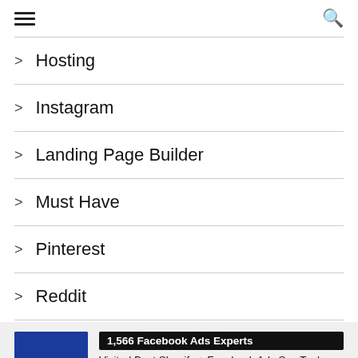Menu and Search header bar
> Hosting
> Instagram
> Landing Page Builder
> Must Have
> Pinterest
> Reddit
[Figure (infographic): Advertisement banner: 1,566 Facebook Ads Experts visited Best Shopify + Facebook Ads Spy Tool. Recently verified by ProveSource. Get FREE Trial + $50 Coupon link.]